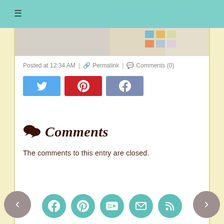≡
[Figure (photo): Partial blog post image showing a blurred/light background with colorful patterned elements on the right side]
Posted at 12:34 AM | 🔗 Permalink | 💬 Comments (0)
[Figure (infographic): Three social share buttons: Twitter (blue), Pinterest (red), Facebook (blue-grey)]
Comments
The comments to this entry are closed.
Navigation arrows left/right and social media icon bar: Facebook, Pinterest, YouTube, Email, RSS